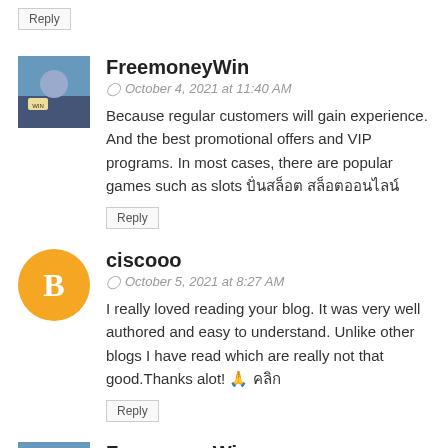Reply
FreemoneyWin
October 4, 2021 at 11:40 AM
Because regular customers will gain experience. And the best promotional offers and VIP programs. In most cases, there are popular games such as slots ปั่นสล็อต สล็อตออนไลน์
Reply
ciscooo
October 5, 2021 at 8:27 AM
I really loved reading your blog. It was very well authored and easy to understand. Unlike other blogs I have read which are really not that good.Thanks alot! 🙏 คลิก
Reply
FreemoneyWin
October 5, 2021 at 11:23 AM